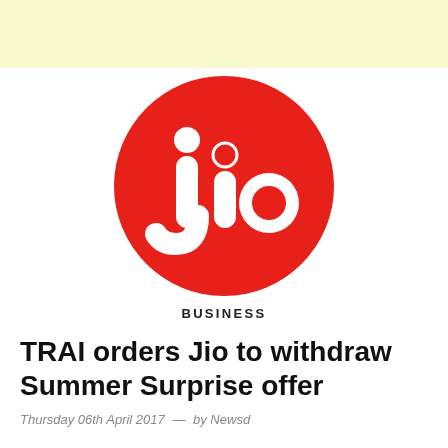[Figure (logo): Jio logo — white 'jio' text on a red circle, with a small red dot on the 'j' and a red filled circle as the dot of the 'i']
BUSINESS
TRAI orders Jio to withdraw Summer Surprise offer
Thursday 06th April 2017  —  by Newsd